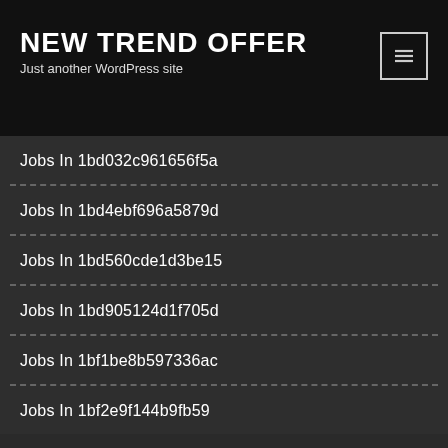NEW TREND OFFER
Just another WordPress site
Jobs In 1bd032c961656f5a
Jobs In 1bd4ebf696a5879d
Jobs In 1bd560cde1d3be15
Jobs In 1bd905124d1f705d
Jobs In 1bf1be8b597336ac
Jobs In 1bf2e9f144b9fb59